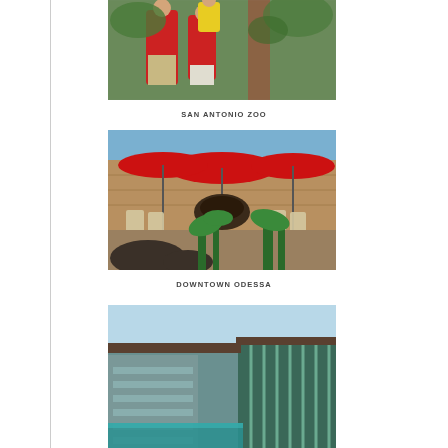[Figure (photo): Family at San Antonio Zoo — a man in red polo and woman holding a child in yellow near wooden post and wire fencing, with giraffe visible in background]
SAN ANTONIO ZOO
[Figure (photo): Downtown Odessa outdoor area with red patio umbrellas, a large decorative fountain bowl, patio chairs and tables, stone building facade, and desert plants in foreground]
DOWNTOWN ODESSA
[Figure (photo): Modern building with glass facade and pool area visible, architectural photo with teal/green glass panels and wooden accents, partially cropped at bottom of page]